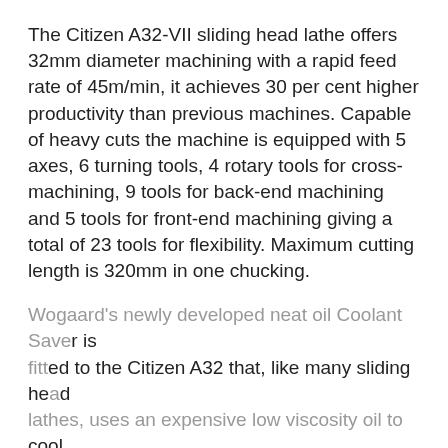The Citizen A32-VII sliding head lathe offers 32mm diameter machining with a rapid feed rate of 45m/min, it achieves 30 per cent higher productivity than previous machines. Capable of heavy cuts the machine is equipped with 5 axes, 6 turning tools, 4 rotary tools for cross-machining, 9 tools for back-end machining and 5 tools for front-end machining giving a total of 23 tools for flexibility. Maximum cutting length is 320mm in one chucking.
Wogaard's newly developed neat oil Coolant Saver is fitted to the Citizen A32 that, like many sliding head lathes, uses an expensive low viscosity oil to cool the component and the cutting tools during machining. Installed by the company's maintenance staff the unit has been operating for a few months.
Primarily designed and successfully applied to the reclaiming of water miscible (soluble oil) coolant from machine tools with swarf conveyors, the Coolant Saver has seen phenomenal growth during the past 18